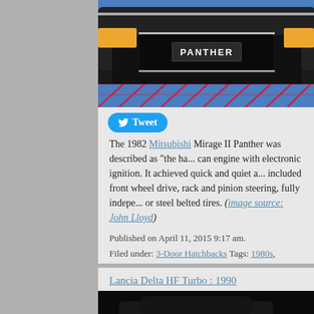[Figure (photo): Front view of a 1982 Mitsubishi Mirage II Panther with a blue background. The car has a PANTHER license plate, orange taillights on the sides, and red diagonal lines on the floor beneath.]
Tweet
The 1982 Mitsubishi Mirage II Panther was described as "the ha... can engine with electronic ignition. It achieved quick and quiet a... included front wheel drive, rack and pinion steering, fully indepe... or steel belted tires. (image source: John Lloyd)
Published on April 11, 2015 9:17 am.
Filed under: 3-Door Hatchbacks Tags: 1980s, Mitsubishi
Lancia Delta HF Turbo : 1990
[Figure (photo): Dark/black image of a Lancia Delta HF Turbo from 1990, mostly obscured.]